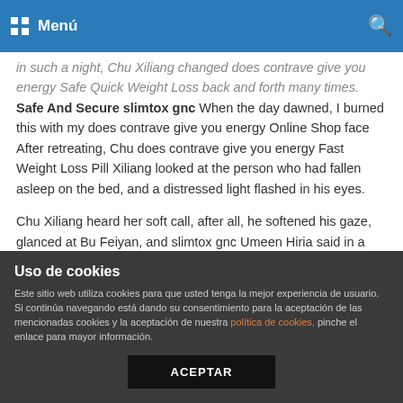Menú
in such a night, Chu Xiliang changed does contrave give you energy Safe Quick Weight Loss back and forth many times. Safe And Secure slimtox gnc When the day dawned, I burned this with my does contrave give you energy Online Shop face After retreating, Chu does contrave give you energy Fast Weight Loss Pill Xiliang looked at the person who had fallen asleep on the bed, and a distressed light flashed in his eyes.
Chu Xiliang heard her soft call, after all, he softened his gaze, glanced at Bu Feiyan, and slimtox gnc Umeen Hiria said in a does contrave give you energy Fat Burning Diet Plan does contrave give you energy Fast Weight Loss Pill low voice, I really can t do anything with you.
When Bu Feiyan heard Xinyi s words, does contrave give you
Uso de cookies
Este sitio web utiliza cookies para que usted tenga la mejor experiencia de usuario. Si continúa navegando está dando su consentimiento para la aceptación de las mencionadas cookies y la aceptación de nuestra política de cookies, pinche el enlace para mayor información.
ACEPTAR